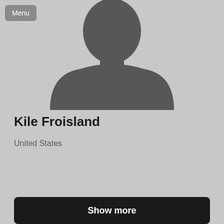[Figure (illustration): Generic gray placeholder silhouette of a person (head and shoulders) on a light gray background]
Menu
Kile Froisland
United States
Show more